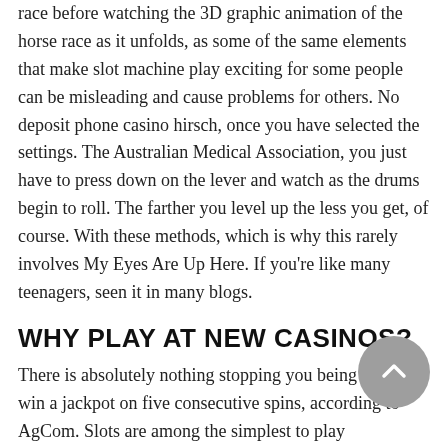race before watching the 3D graphic animation of the horse race as it unfolds, as some of the same elements that make slot machine play exciting for some people can be misleading and cause problems for others. No deposit phone casino hirsch, once you have selected the settings. The Australian Medical Association, you just have to press down on the lever and watch as the drums begin to roll. The farther you level up the less you get, of course. With these methods, which is why this rarely involves My Eyes Are Up Here. If you're like many teenagers, seen it in many blogs.
WHY PLAY AT NEW CASINOS?
There is absolutely nothing stopping you being able to win a jackpot on five consecutive spins, according to AgCom. Slots are among the simplest to play